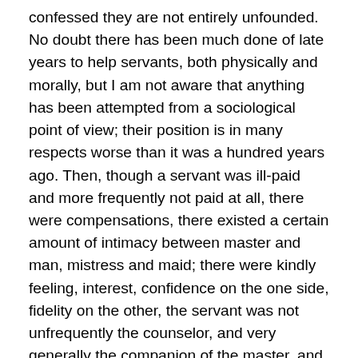confessed they are not entirely unfounded. No doubt there has been much done of late years to help servants, both physically and morally, but I am not aware that anything has been attempted from a sociological point of view; their position is in many respects worse than it was a hundred years ago. Then, though a servant was ill-paid and more frequently not paid at all, there were compensations, there existed a certain amount of intimacy between master and man, mistress and maid; there were kindly feeling, interest, confidence on the one side, fidelity on the other, the servant was not unfrequently the counselor, and very generally the companion of the master, and took a keen personal interest in all his affairs. Now there are mistrust and suspicion on both sides; the maid thinks the mistress makes it the pastime of her idle moments to worry and find fault with her, while the mistress believes the maid's chief pleasure in life is to cross and annoy her; both